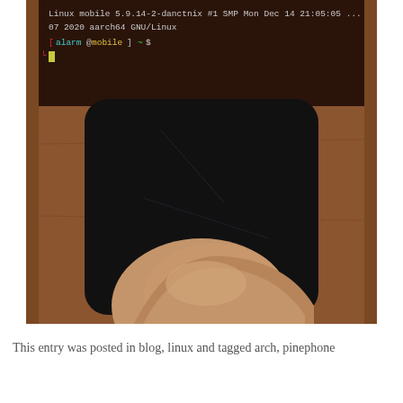[Figure (photo): Photo of a PinePhone displaying a Linux terminal (Arch Linux ARM). The terminal shows: 'Linux mobile 5.9.14-2-danctnix #1 SMP Mon Dec 14 21:05:05 07 2020 aarch64 GNU/Linux' and a prompt 'alarm@mobile ~$'. A hand/thumb is visible holding the phone from below.]
This entry was posted in blog, linux and tagged arch, pinephone